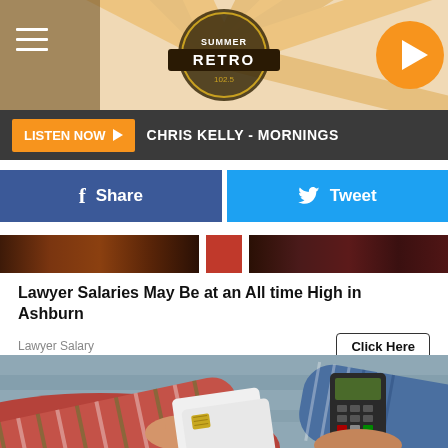[Figure (screenshot): Retro radio station header banner with sunburst design, hamburger menu icon on left, Retro logo in center, orange play button on right]
LISTEN NOW ▶  CHRIS KELLY - MORNINGS
[Figure (screenshot): Facebook Share button (blue) and Twitter Tweet button (light blue) side by side]
[Figure (screenshot): Advertisement banner strip with dark background and red/brown gradient segments]
Lawyer Salaries May Be at an All time High in Ashburn
Lawyer Salary
[Figure (photo): Person in red plaid flannel shirt holding a credit/debit card toward a POS payment terminal held by another person in blue plaid shirt, store background blurred]